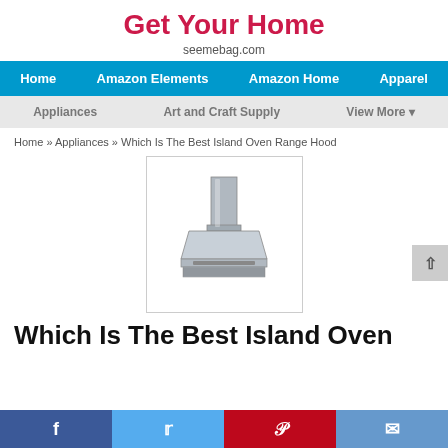Get Your Home
seeemebag.com
Home   Amazon Elements   Amazon Home   Apparel
Appliances   Art and Craft Supply   View More ▾
Home » Appliances » Which Is The Best Island Oven Range Hood
[Figure (photo): A stainless steel island oven range hood appliance, shown from a front-low angle, with a wide flat base and tall chimney.]
Which Is The Best Island Oven